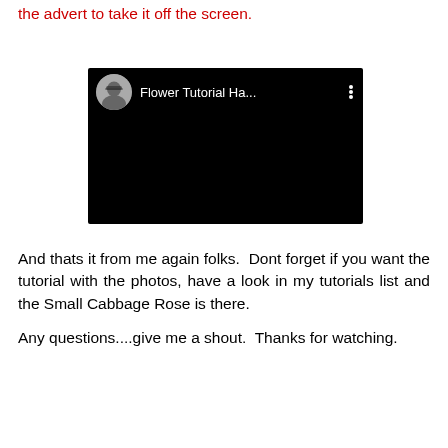the advert to take it off the screen.
[Figure (screenshot): A YouTube video player thumbnail showing a black screen with a circular avatar of a woman with glasses in the top left, channel name 'Flower Tutorial Ha...' in white text, and a three-dot menu icon on the right.]
And thats it from me again folks.  Dont forget if you want the tutorial with the photos, have a look in my tutorials list and the Small Cabbage Rose is there.
Any questions....give me a shout.  Thanks for watching.